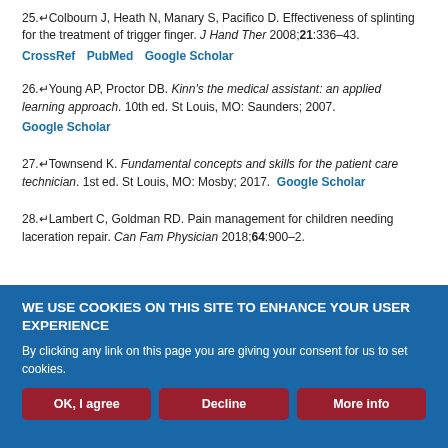25. Colbourn J, Heath N, Manary S, Pacifico D. Effectiveness of splinting for the treatment of trigger finger. J Hand Ther 2008;21:336–43.
26. Young AP, Proctor DB. Kinn's the medical assistant: an applied learning approach. 10th ed. St Louis, MO: Saunders; 2007.
27. Townsend K. Fundamental concepts and skills for the patient care technician. 1st ed. St Louis, MO: Mosby; 2017.
28. Lambert C, Goldman RD. Pain management for children needing laceration repair. Can Fam Physician 2018;64:900–2.
WE USE COOKIES ON THIS SITE TO ENHANCE YOUR USER EXPERIENCE
By clicking any link on this page you are giving your consent for us to set cookies.